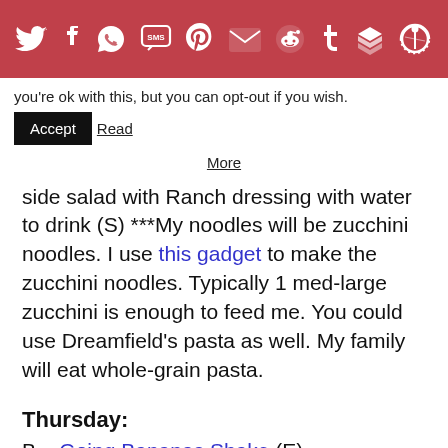[Figure (infographic): Red social sharing bar with white icons: Twitter, Facebook, WhatsApp, SMS, Pinterest, Gmail/Mail, Reddit, Tumblr, Buffer, More]
you're ok with this, but you can opt-out if you wish.  Accept  Read More
side salad with Ranch dressing with water to drink (S) ***My noodles will be zucchini noodles. I use this gadget to make the zucchini noodles. Typically 1 med-large zucchini is enough to feed me. You could use Dreamfield's pasta as well. My family will eat whole-grain pasta.
Thursday:
B – Going Bananas Shake (E)
L – Just Like Campbell's Tomato Soup with fresh veggies on the side with water drink (S) pg. 112 in the NEW THM Cookbook